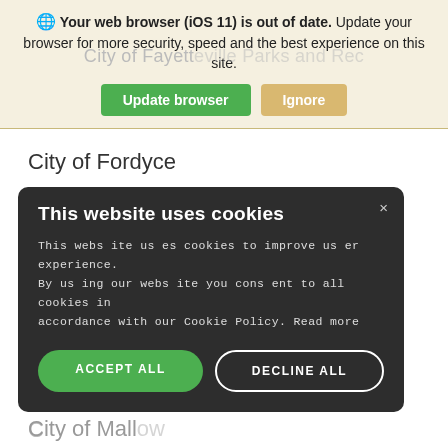[Figure (screenshot): Browser update warning banner with globe icon, bold text 'Your web browser (iOS 11) is out of date. Update your browser for more security, speed and the best experience on this site.' with green 'Update browser' and tan 'Ignore' buttons]
City of Fayetteville Parks and Recreation
City of Fordyce
City of Forrest City
City of Hot Springs
[Figure (screenshot): Cookie consent popup with dark background. Title: 'This website uses cookies'. Body: 'This website uses cookies to improve user experience. By using our website you consent to all cookies in accordance with our Cookie Policy. Read more'. Buttons: 'ACCEPT ALL' (green) and 'DECLINE ALL' (white outline).]
City of Malvern